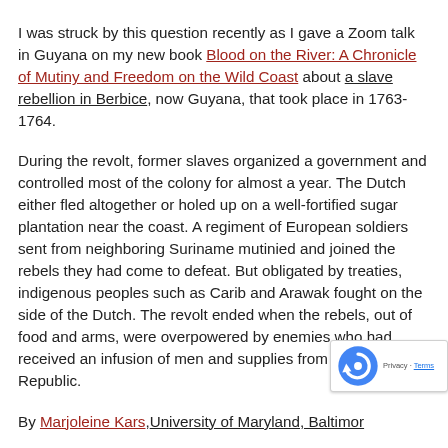I was struck by this question recently as I gave a Zoom talk in Guyana on my new book Blood on the River: A Chronicle of Mutiny and Freedom on the Wild Coast about a slave rebellion in Berbice, now Guyana, that took place in 1763-1764.
During the revolt, former slaves organized a government and controlled most of the colony for almost a year. The Dutch either fled altogether or holed up on a well-fortified sugar plantation near the coast. A regiment of European soldiers sent from neighboring Suriname mutinied and joined the rebels they had come to defeat. But obligated by treaties, indigenous peoples such as Carib and Arawak fought on the side of the Dutch. The revolt ended when the rebels, out of food and arms, were overpowered by enemies who had received an infusion of men and supplies from the Dutch Republic.
By Marjoleine Kars, University of Maryland, Baltimore County